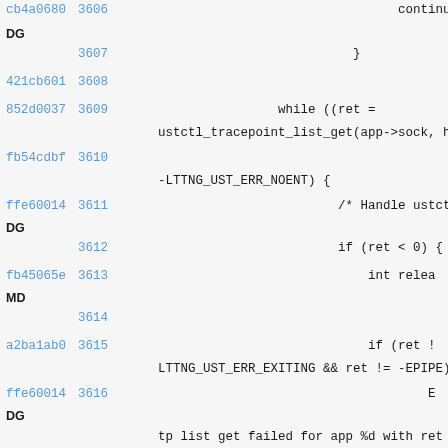[Figure (screenshot): Source code diff view showing lines 3607-3618 with git hashes, line numbers, and C code snippets including while loop with ustctl_tracepoint_list_get, error handling with LTTNG_UST_ERR_NOENT, LTTNG_UST_ERR_EXITING, EPIPE checks, and ERR logging for tp list get failed.]